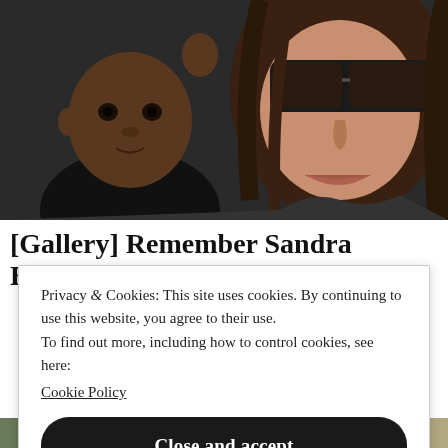[Figure (photo): Close-up photo of a woman wearing dark sunglasses with long brown hair, holding a young Black child dressed in a black outfit. The background is blurred and dark.]
[Gallery] Remember Sandra Bullock's Son? Try
Privacy & Cookies: This site uses cookies. By continuing to use this website, you agree to their use.
To find out more, including how to control cookies, see here:
Cookie Policy
Close and accept